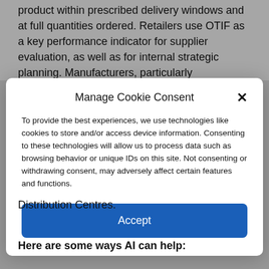product within prescribed delivery windows and at full quantities ordered. Retailers use OTIF as a key performance indicator for supplier evaluation, as well as for internal strategic planning. Manufacturers, particularly
[Figure (screenshot): Cookie consent modal dialog with title 'Manage Cookie Consent', body text about cookies and device information, a close button (×), and a blue 'Accept' button.]
Distribution Centres.
Here are some ways AI can help: